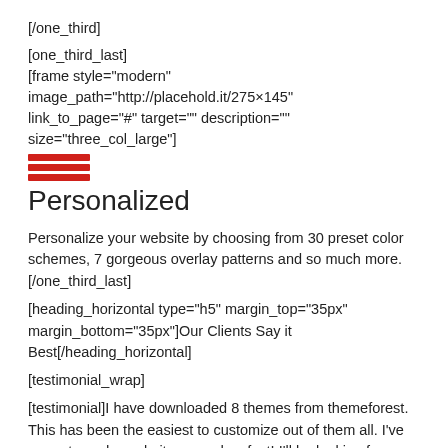[/one_third]
[one_third_last]
[frame style="modern" image_path="http://placehold.it/275×145" link_to_page="#" target="" description="" size="three_col_large"]
[Figure (illustration): Red horizontal bars icon (three stacked red rectangles)]
Personalized
Personalize your website by choosing from 30 preset color schemes, 7 gorgeous overlay patterns and so much more.
[/one_third_last]
[heading_horizontal type="h5" margin_top="35px" margin_bottom="35px"]Our Clients Say it Best[/heading_horizontal]
[testimonial_wrap]
[testimonial]I have downloaded 8 themes from themeforest. This has been the easiest to customize out of them all. I've never turned a website around so fast! I'll be looking for more themes from TrueThemes in the future. Thanks![client_name]TrueThemes Customer[/client_name][/testimonial]
[testimonial]I have purchased the Karma Theme and can